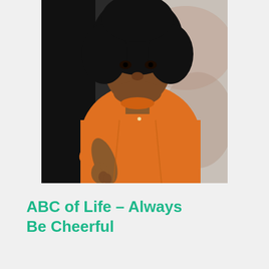[Figure (photo): A man wearing an orange robe with large natural hair, pointing his index finger toward the viewer, photographed against a blurred background.]
ABC of Life – Always Be Cheerful